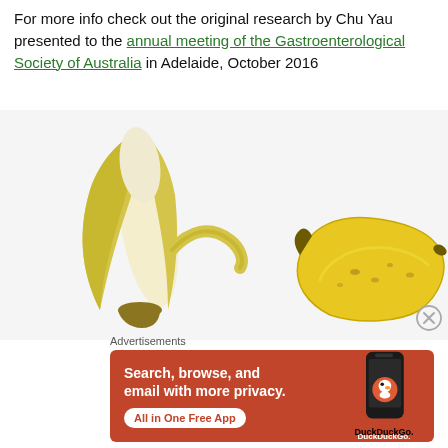For more info check out the original research by Chu Yau presented to the annual meeting of the Gastroenterological Society of Australia in Adelaide, October 2016
[Figure (photo): Two bananas on white background: left one is peeled showing white flesh, right one is unpeeled yellow banana with brown spots]
Advertisements
[Figure (infographic): DuckDuckGo advertisement banner: orange/red background with text 'Search, browse, and email with more privacy. All in One Free App' and a phone graphic with DuckDuckGo logo and name]